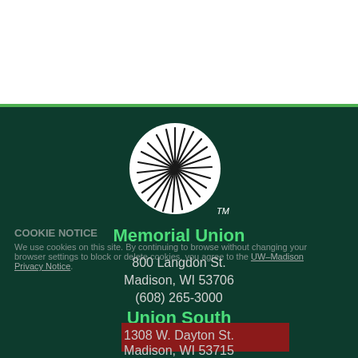[Figure (logo): Memorial Union sunburst logo — white circle with radiating lines, on dark green background. TM mark at bottom right.]
Memorial Union
800 Langdon St.
Madison, WI 53706
(608) 265-3000
Union South
1308 W. Dayton St.
Madison, WI 53715
(608) 890-3000
COOKIE NOTICE
We use cookies on this site. By continuing to browse without changing your browser settings to block or delete cookies, you agree to the UW–Madison Privacy Notice.